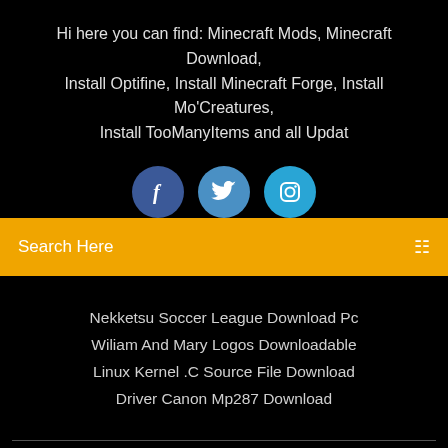Hi here you can find: Minecraft Mods, Minecraft Download, Install Optifine, Install Minecraft Forge, Install Mo'Creatures, Install TooManyItems and all Updat
[Figure (other): Three social media icons: Facebook (dark blue circle with 'f'), Twitter (medium blue circle with bird icon), Instagram (light blue circle with camera icon)]
Search Here
Nekketsu Soccer League Download Pc
Wiliam And Mary Logos Downloadable
Linux Kernel .C Source File Download
Driver Canon Mp287 Download
Copyright ©2022 All rights reserved